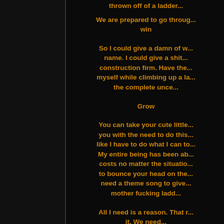thrown off of a ladder...
We are prepared to go through... win
So I could give a damn of w... name. I could give a shit... construction firm. Have the... myself while climbing up a la... the complete unce...
Grow
You can take your cute little... you with the need to do this... like I have to do what I can to... My entire being has been ab... costs no matter the situation... to bounce your head on the... need a theme song to give... mother fucking ladd...
All I need is a reason. That r... it. We need...
While I will do it by any mean... a fan of w...
I get
I don't need anybody...